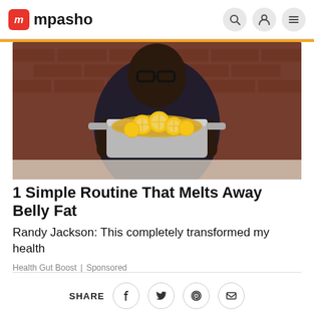mpasho
[Figure (photo): A person wearing glasses and a patterned shirt holding a stainless steel pot filled with lemon slices in liquid, in a kitchen setting with brick walls.]
1 Simple Routine That Melts Away Belly Fat
Randy Jackson: This completely transformed my health
Health Gut Boost | Sponsored
SHARE